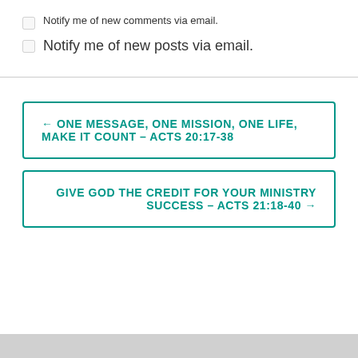Notify me of new comments via email.
Notify me of new posts via email.
← ONE MESSAGE, ONE MISSION, ONE LIFE, MAKE IT COUNT – ACTS 20:17-38
GIVE GOD THE CREDIT FOR YOUR MINISTRY SUCCESS – ACTS 21:18-40 →